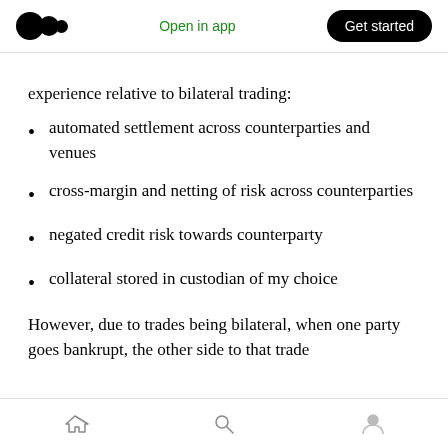Open in app | Get started
experience relative to bilateral trading:
automated settlement across counterparties and venues
cross-margin and netting of risk across counterparties
negated credit risk towards counterparty
collateral stored in custodian of my choice
However, due to trades being bilateral, when one party goes bankrupt, the other side to that trade
Home | Search | Profile